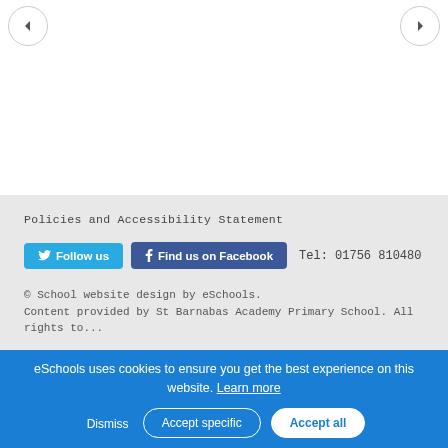[Figure (other): White area with navigation arrow buttons (left and right) at the top corners of the page, part of a slideshow or carousel.]
Policies and Accessibility Statement
Follow us   Find us on Facebook   Tel: 01756 810480
© School website design by eSchools. Content provided by St Barnabas Academy Primary School. All rights reserved.
eSchools uses cookies to ensure you get the best experience on this website. Learn more
Dismiss   Accept specific   Accept all